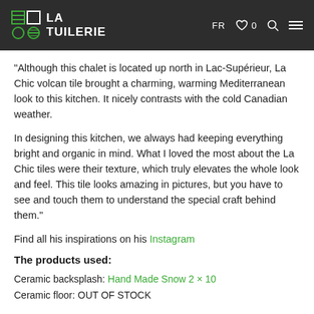LA TUILERIE | FR ♡ 0 🔍 ≡
“Although this chalet is located up north in Lac-Supérieur, La Chic volcan tile brought a charming, warming Mediterranean look to this kitchen. It nicely contrasts with the cold Canadian weather.
In designing this kitchen, we always had keeping everything bright and organic in mind. What I loved the most about the La Chic tiles were their texture, which truly elevates the whole look and feel. This tile looks amazing in pictures, but you have to see and touch them to understand the special craft behind them.”
Find all his inspirations on his Instagram
The products used:
Ceramic backsplash: Hand Made Snow 2 × 10
Ceramic floor: OUT OF STOCK